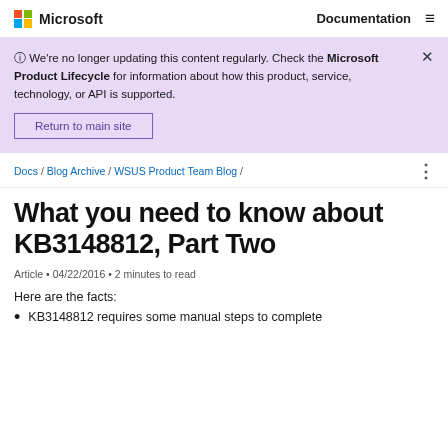Microsoft  Documentation
ⓘ We're no longer updating this content regularly. Check the Microsoft Product Lifecycle for information about how this product, service, technology, or API is supported.
Return to main site
Docs / Blog Archive / WSUS Product Team Blog /
What you need to know about KB3148812, Part Two
Article • 04/22/2016 • 2 minutes to read
Here are the facts:
KB3148812 requires some manual steps to complete